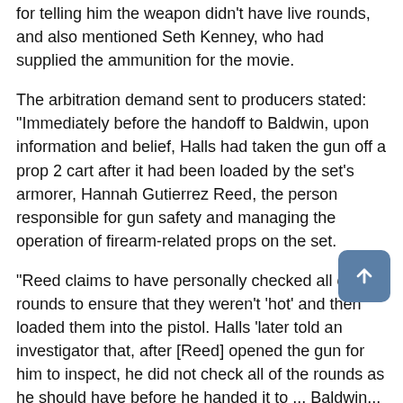for telling him the weapon didn't have live rounds, and also mentioned Seth Kenney, who had supplied the ammunition for the movie.
The arbitration demand sent to producers stated: "Immediately before the handoff to Baldwin, upon information and belief, Halls had taken the gun off a prop 2 cart after it had been loaded by the set's armorer, Hannah Gutierrez Reed, the person responsible for gun safety and managing the operation of firearm-related props on the set.
"Reed claims to have personally checked all of the rounds to ensure that they weren't 'hot' and then loaded them into the pistol. Halls 'later told an investigator that, after [Reed] opened the gun for him to inspect, he did not check all of the rounds as he should have before he handed it to ... Baldwin...
"At this point, two things are clear: someone is culpable for chambering the live round that led to this horrific tragedy, and it is someone other than Baldwin.
"Baldwin is an actor. He didn't announce that the gun was 'cold'